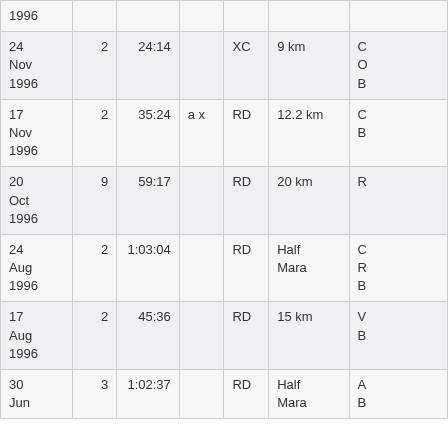| Date |  | Time |  | Type | Distance |  |
| --- | --- | --- | --- | --- | --- | --- |
| 1996 |  |  |  |  |  |  |
| 24 Nov 1996 | 2 | 24:14 |  | XC | 9 km | C O B |
| 17 Nov 1996 | 2 | 35:24 | a x | RD | 12.2 km | C B |
| 20 Oct 1996 | 9 | 59:17 |  | RD | 20 km | R |
| 24 Aug 1996 | 2 | 1:03:04 |  | RD | Half Mara | C R B |
| 17 Aug 1996 | 2 | 45:36 |  | RD | 15 km | V B |
| 30 Jun | 3 | 1:02:37 |  | RD | Half Mara | A B |